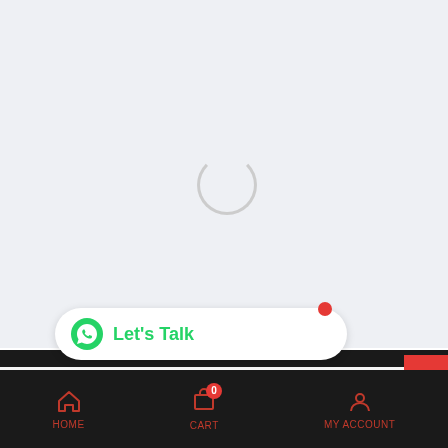[Figure (screenshot): Mobile app loading screen with light gray background and a circular loading spinner in the center]
[Figure (other): WhatsApp 'Let's Talk' chat bubble widget with green WhatsApp icon and text, red notification dot in top right corner]
Non Vibrating Dildos
[Figure (other): Scroll-to-top chevron button, red background, white up arrow]
HOME   CART 0   MY ACCOUNT